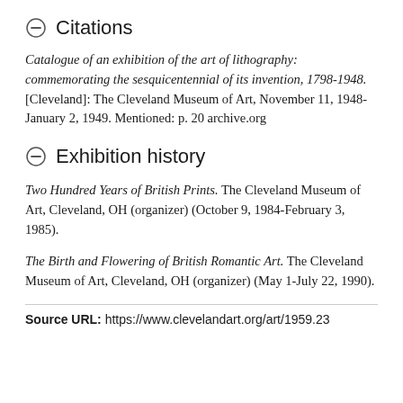Citations
Catalogue of an exhibition of the art of lithography: commemorating the sesquicentennial of its invention, 1798-1948. [Cleveland]: The Cleveland Museum of Art, November 11, 1948-January 2, 1949. Mentioned: p. 20 archive.org
Exhibition history
Two Hundred Years of British Prints. The Cleveland Museum of Art, Cleveland, OH (organizer) (October 9, 1984-February 3, 1985).
The Birth and Flowering of British Romantic Art. The Cleveland Museum of Art, Cleveland, OH (organizer) (May 1-July 22, 1990).
Source URL: https://www.clevelandart.org/art/1959.23